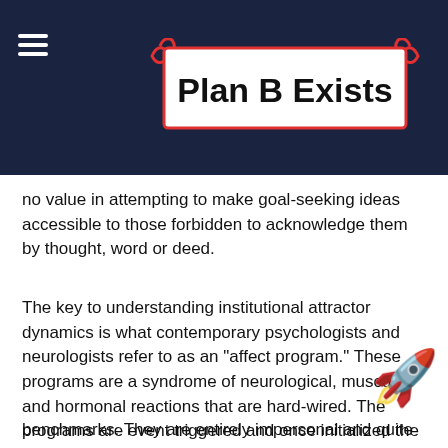Plan B Exists
no value in attempting to make goal-seeking ideas accessible to those forbidden to acknowledge them by thought, word or deed.
The key to understanding institutional attractor dynamics is what contemporary psychologists and neurologists refer to as an "affect program." These programs are a syndrome of neurological, muscular and hormonal reactions that are hard-wired. The programs are event triggered and once initialized the program executes beyond any voluntary control. Affect programs, including obedience to authority and hostility towards anything that threatens it, such as pragmatic foresight, hold the institution together. The practitioner's secret is to look for these affect programs as progress benchmarks. They are entirely impersonal and quite reliable
benchmarks. They are entirely impersonal and quite reliable